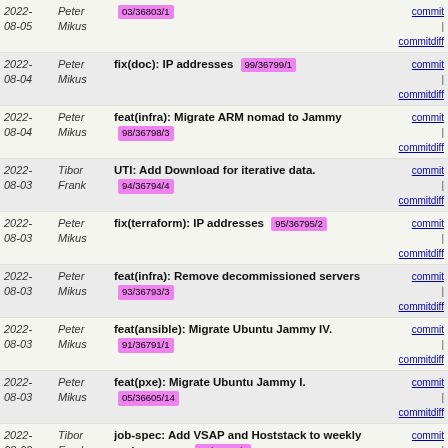2022-08-05 Peter Mikus 03/36803/1 commit | commitdiff
2022-08-04 Peter Mikus fix(doc): IP addresses 99/36799/1 commit | commitdiff
2022-08-04 Peter Mikus feat(infra): Migrate ARM nomad to Jammy 98/36798/3 commit | commitdiff
2022-08-03 Tibor Frank UTI: Add Download for iterative data. 94/36794/4 commit | commitdiff
2022-08-03 Peter Mikus fix(terraform): IP addresses 95/36795/2 commit | commitdiff
2022-08-03 Peter Mikus feat(infra): Remove decommissioned servers 93/36793/3 commit | commitdiff
2022-08-03 Peter Mikus feat(ansible): Migrate Ubuntu Jammy IV. 91/36791/1 commit | commitdiff
2022-08-03 Peter Mikus feat(pxe): Migrate Ubuntu Jammy I. 05/36605/14 commit | commitdiff
2022-08-02 Tibor Frank job-spec: Add VSAP and Hoststack to weekly and coverage 01/36501/7 commit | commitdiff
2022-08-02 Tibor Frank Report: Set NIC limmits according to constant.py 86/36786/1 commit | commitdiff
2022-08-02 Tibor Frank Trending: Prepare static content for the new UTI 84/36784/2 commit | commitdiff
2022-08-01 Tibor Frank Report: Add 2n-tx2 LXC/DRC Container Memif graphs 82/36782/3 commit | commitdiff
2022-08-01 Juraj Linkes ansible: add Arm dev ssh keys to tx2 VPP Device 12/36712/2 commit | commitdiff
2022-08-01 Tibor Frank Update VPP_STABLE_VER files 41/36741/2 commit | commitdiff